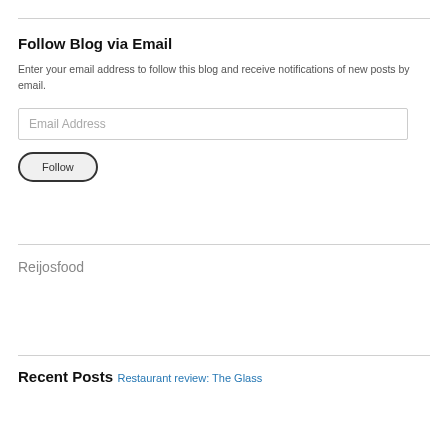Follow Blog via Email
Enter your email address to follow this blog and receive notifications of new posts by email.
Email Address
Follow
Reijosfood
Recent Posts
Restaurant review: The Glass